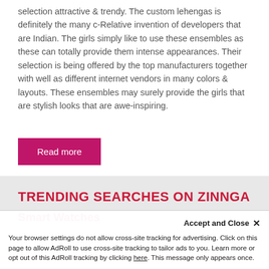selection attractive & trendy. The custom lehengas is definitely the many c-Relative invention of developers that are Indian. The girls simply like to use these ensembles as these can totally provide them intense appearances. Their selection is being offered by the top manufacturers together with well as different internet vendors in many colors & layouts. These ensembles may surely provide the girls that are stylish looks that are awe-inspiring.
Read more
TRENDING SEARCHES ON ZINNGA
Smart Watches
Accept and Close ✕
Your browser settings do not allow cross-site tracking for advertising. Click on this page to allow AdRoll to use cross-site tracking to tailor ads to you. Learn more or opt out of this AdRoll tracking by clicking here. This message only appears once.